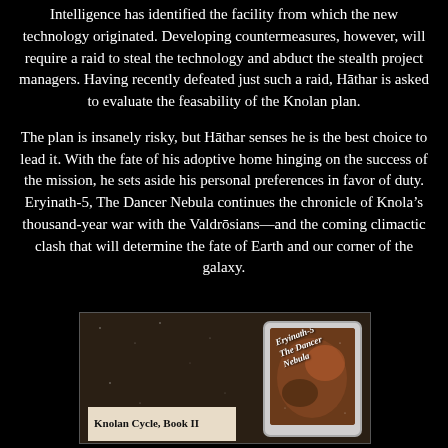Intelligence has identified the facility from which the new technology originated. Developing countermeasures, however, will require a raid to steal the technology and abduct the stealth project managers. Having recently defeated just such a raid, Hāthar is asked to evaluate the feasability of the Knolan plan.
The plan is insanely risky, but Hāthar senses he is the best choice to lead it. With the fate of his adoptive home hinging on the success of the mission, he sets aside his personal preferences in favor of duty. Eryinath-5, The Dancer Nebula continues the chronicle of Knola's thousand-year war with the Valdrōsians—and the coming climactic clash that will determine the fate of Earth and our corner of the galaxy.
[Figure (photo): Book product photo showing a physical book and a tablet device displaying the cover of 'Eryinath-5' (Knolan Cycle, Book II). The book spine/cover is brown with a label reading 'Knolan Cycle, Book II'. The tablet shows the book cover with stylized text 'Eryinath-5' over a nebula/space background.]